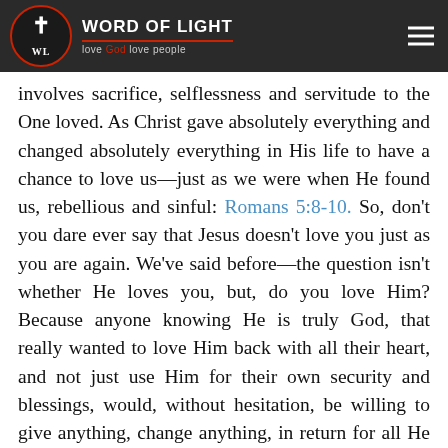Word of Light — love God love people
involves sacrifice, selflessness and servitude to the One loved. As Christ gave absolutely everything and changed absolutely everything in His life to have a chance to love us—just as we were when He found us, rebellious and sinful: Romans 5:8-10. So, don't you dare ever say that Jesus doesn't love you just as you are again. We've said before—the question isn't whether He loves you, but, do you love Him? Because anyone knowing He is truly God, that really wanted to love Him back with all their heart, and not just use Him for their own security and blessings, would, without hesitation, be willing to give anything, change anything, in return for all He has changed and done for them, even when they were at their worst, in order to please Him. If they do not have the trust, obedience and desire to do so after He has done so much for their love, they will never have the desire to love anyone but self, in real sacrifice and servitude as God is